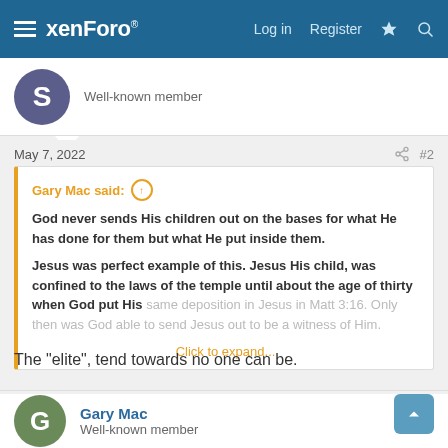xenForo® — Log in  Register
Well-known member
May 7, 2022  #2
Gary Mac said: ↑
God never sends His children out on the bases for what He has done for them but what He put inside them.

Jesus was perfect example of this. Jesus His child, was confined to the laws of the temple until about the age of thirty when God put His same deposition in Jesus in Matt 3:16. Only then was God able to send Jesus out to be a witness of Him.
Click to expand...
The "elite", tend towards no one can be.
Gary Mac
Well-known member